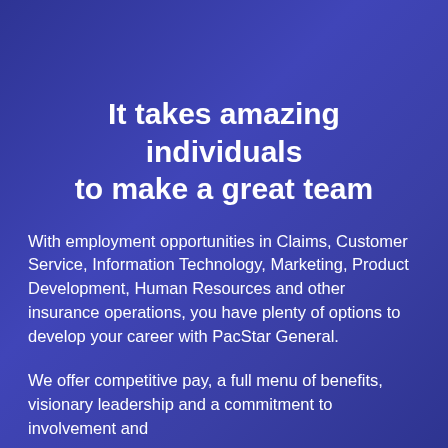It takes amazing individuals to make a great team
With employment opportunities in Claims, Customer Service, Information Technology, Marketing, Product Development, Human Resources and other insurance operations, you have plenty of options to develop your career with PacStar General.
We offer competitive pay, a full menu of benefits, visionary leadership and a commitment to involvement and